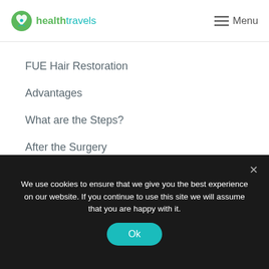healthtravels | Menu
FUE Hair Restoration
Advantages
What are the Steps?
After the Surgery
Healing Process
Contact
We use cookies to ensure that we give you the best experience on our website. If you continue to use this site we will assume that you are happy with it.